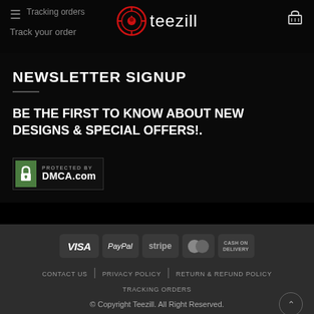Tracking orders | teezill | Track your order
NEWSLETTER SIGNUP
BE THE FIRST TO KNOW ABOUT NEW DESIGNS & SPECIAL OFFERS!.
[Figure (logo): DMCA.com Protected badge with green lock icon]
[Figure (infographic): Payment method badges: VISA, PayPal, stripe, MasterCard, CASH ON DELIVERY]
CONTACT US   PRIVACY POLICY   RETURN & REFUND POLICY   TRACKING ORDERS
© Copyright Teezill. All Right Reserved.